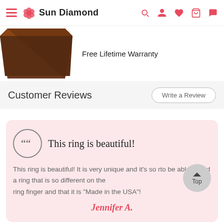Sun Diamond
[Figure (photo): Partial view of a dark brown leather ring box, cropped at the top]
Free Lifetime Warranty
Customer Reviews
Write a Review
This ring is beautiful!
This ring is beautiful! It is very unique and it's so r... to be able to find a ring that is so different on the ring finger and that it is "Made in the USA"!
Jennifer A.